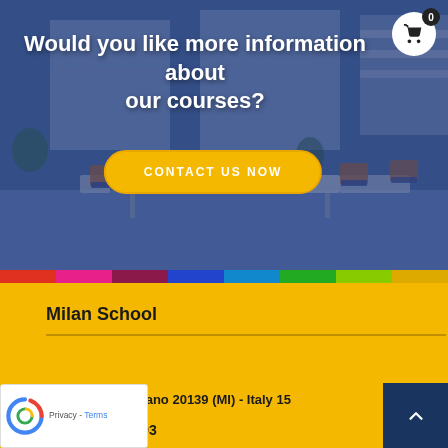[Figure (photo): Hero section with a blurred/blue-overlay classroom photo showing tables, chairs, and windows. A shopping cart icon with badge showing '0' is in the top-right corner.]
Would you like more information about our courses?
CONTACT US NOW
Milan School
e Brenta 27 - Milano 20139 (MI) - Italy 15 from M3 Brenta
📞 +39 02867903